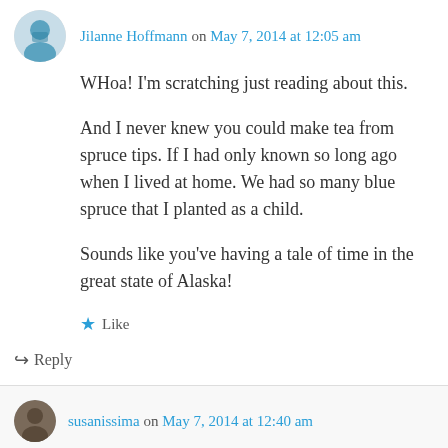Jilanne Hoffmann on May 7, 2014 at 12:05 am
WHoa! I'm scratching just reading about this.
And I never knew you could make tea from spruce tips. If I had only known so long ago when I lived at home. We had so many blue spruce that I planted as a child.
Sounds like you've having a tale of time in the great state of Alaska!
Like
Reply
susanissima on May 7, 2014 at 12:40 am
Not to worry, Jilanne! Just grab those little